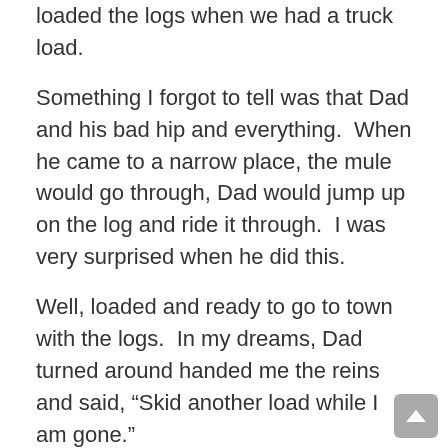loaded the logs when we had a truck load.
Something I forgot to tell was that Dad and his bad hip and everything.  When he came to a narrow place, the mule would go through, Dad would jump up on the log and ride it through.  I was very surprised when he did this.
Well, loaded and ready to go to town with the logs.  In my dreams, Dad turned around handed me the reins and said, “Skid another load while I am gone.”
Well, let’s see, here I am out in the book-docks with this four-legged animal.  At least another twelve logs to go.  Well you don’t know if you can swim if you don’t get wet.